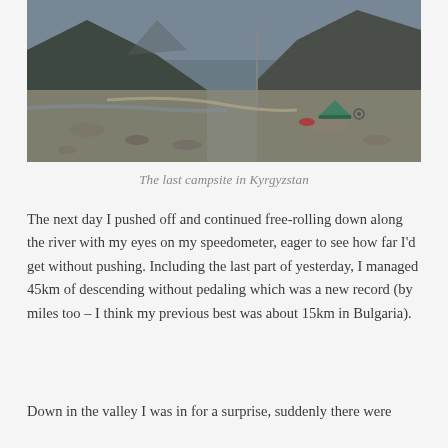[Figure (photo): A rocky valley campsite in Kyrgyzstan, showing a tent pitched on gravel next to a river, with mountains in the background and a road visible.]
The last campsite in Kyrgyzstan
The next day I pushed off and continued free-rolling down along the river with my eyes on my speedometer, eager to see how far I'd get without pushing. Including the last part of yesterday, I managed 45km of descending without pedaling which was a new record (by miles too – I think my previous best was about 15km in Bulgaria).
Down in the valley I was in for a surprise, suddenly there were Russian...